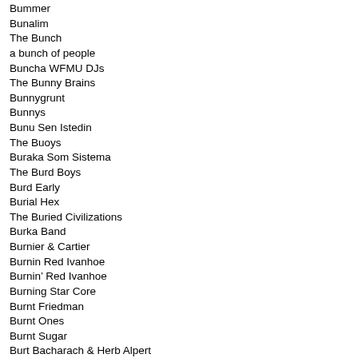Bummer
Bunalim
The Bunch
a bunch of people
Buncha WFMU DJs
The Bunny Brains
Bunnygrunt
Bunnys
Bunu Sen Istedin
The Buoys
Buraka Som Sistema
The Burd Boys
Burd Early
Burial Hex
The Buried Civilizations
Burka Band
Burnier & Cartier
Burnin Red Ivanhoe
Burnin' Red Ivanhoe
Burning Star Core
Burnt Friedman
Burnt Ones
Burnt Sugar
Burt Bacharach & Herb Alpert
Burt Bacharach Minus One
Bush Tetras
Bushman's Revenge
The Butterflies Of Love
The Butterflys
Butterscott
Butthole Surfers
Buttonholes S.A.
Buzz
Buzzcocks
Buzzsaw
By The End of Tonight
Byard Lancaster